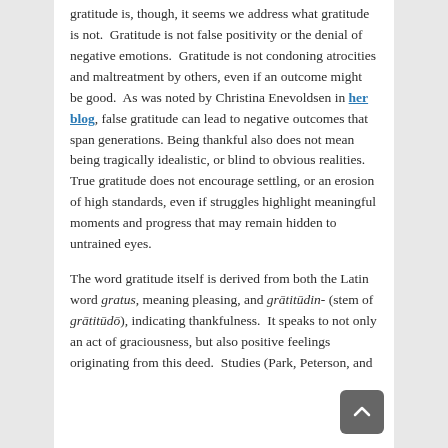gratitude is, though, it seems we address what gratitude is not.  Gratitude is not false positivity or the denial of negative emotions.  Gratitude is not condoning atrocities and maltreatment by others, even if an outcome might be good.  As was noted by Christina Enevoldsen in her blog, false gratitude can lead to negative outcomes that span generations. Being thankful also does not mean being tragically idealistic, or blind to obvious realities.  True gratitude does not encourage settling, or an erosion of high standards, even if struggles highlight meaningful moments and progress that may remain hidden to untrained eyes.

The word gratitude itself is derived from both the Latin word gratus, meaning pleasing, and grātitūdin- (stem of grātitūdō), indicating thankfulness.  It speaks to not only an act of graciousness, but also positive feelings originating from this deed.  Studies (Park, Peterson, and